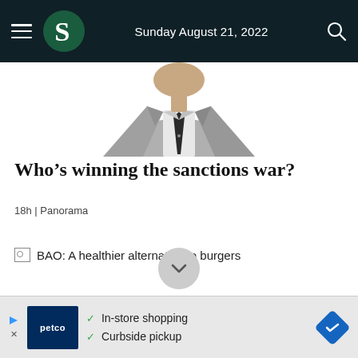Sunday August 21, 2022
[Figure (illustration): Partial illustration of a person in a grey suit with dark tie, cropped to show torso and lower head area only]
Who’s winning the sanctions war?
18h | Panorama
BAO: A healthier alternative to burgers
[Figure (other): Petco advertisement banner with In-store shopping and Curbside pickup text]